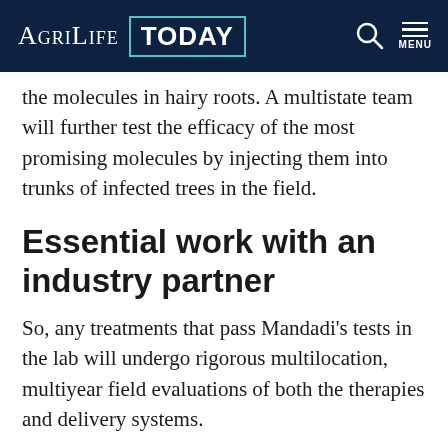AgriLife TODAY
the molecules in hairy roots. A multistate team will further test the efficacy of the most promising molecules by injecting them into trunks of infected trees in the field.
Essential work with an industry partner
So, any treatments that pass Mandadi's tests in the lab will undergo rigorous multilocation, multiyear field evaluations of both the therapies and delivery systems.
Southern Gardens Citrus, a wholly owned